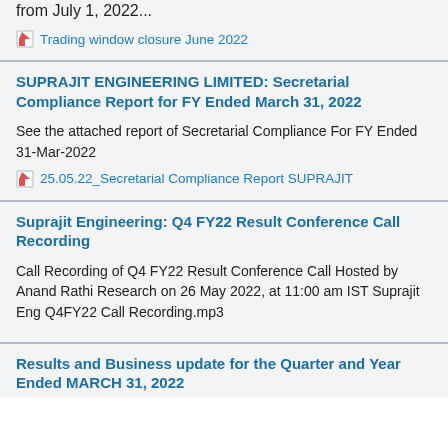from July 1, 2022...
Trading window closure June 2022
SUPRAJIT ENGINEERING LIMITED: Secretarial Compliance Report for FY Ended March 31, 2022
See the attached report of Secretarial Compliance For FY Ended 31-Mar-2022
25.05.22_Secretarial Compliance Report SUPRAJIT
Suprajit Engineering: Q4 FY22 Result Conference Call Recording
Call Recording of Q4 FY22 Result Conference Call Hosted by Anand Rathi Research on 26 May 2022, at 11:00 am IST Suprajit Eng Q4FY22 Call Recording.mp3
Results and Business update for the Quarter and Year Ended MARCH 31, 2022